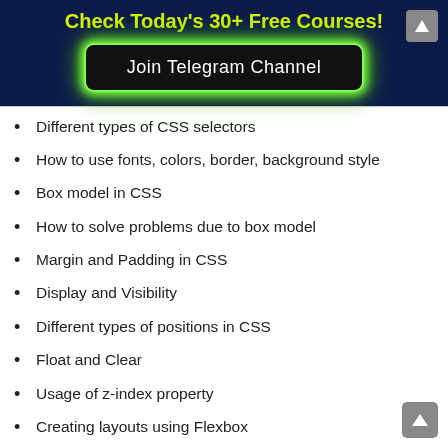Check Today's 30+ Free Courses!
[Figure (other): Join Telegram Channel button with green glow border on dark navy background]
Different types of CSS selectors
How to use fonts, colors, border, background style
Box model in CSS
How to solve problems due to box model
Margin and Padding in CSS
Display and Visibility
Different types of positions in CSS
Float and Clear
Usage of z-index property
Creating layouts using Flexbox
Responsive web design using media queries
Different types of pseudo-selectors and their usages